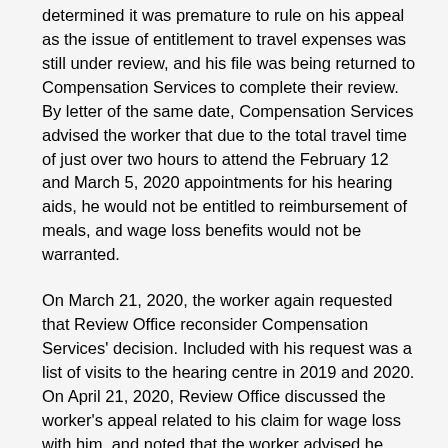determined it was premature to rule on his appeal as the issue of entitlement to travel expenses was still under review, and his file was being returned to Compensation Services to complete their review. By letter of the same date, Compensation Services advised the worker that due to the total travel time of just over two hours to attend the February 12 and March 5, 2020 appointments for his hearing aids, he would not be entitled to reimbursement of meals, and wage loss benefits would not be warranted.
On March 21, 2020, the worker again requested that Review Office reconsider Compensation Services' decision. Included with his request was a list of visits to the hearing centre in 2019 and 2020. On April 21, 2020, Review Office discussed the worker's appeal related to his claim for wage loss with him, and noted that the worker advised he completed his job duties while still attending the appointments on February 12 and March 5, 2020, and would not have lost earnings on those dates. On April 23, 2020, Review Office again spoke to the worker with regard to his claim for mileage reimbursement and to the August 11, 2017 letter from the WCB, and noted that the worker disagreed with his mileage being calculated from his address in 1992, as he had since moved and now